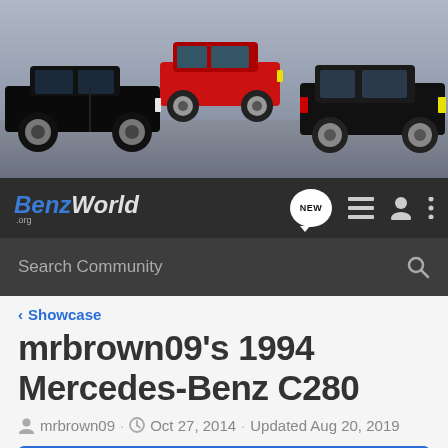[Figure (photo): BenzWorld website header banner showing three Mercedes-Benz cars: a black convertible on the left, a red coupe in the center-back, and a black classic sedan on the right, with a dark concrete background]
[Figure (logo): BenzWorld.org logo in blue and white italic text with navigation icons (NEW chat bubble, list icon, person icon, three dots menu)]
[Figure (screenshot): Search Community input bar with magnifying glass icon on dark background]
< Showcase
mrbrown09's 1994 Mercedes-Benz C280
mrbrown09 · Oct 27, 2014 · Updated Aug 20, 2019
+ Follow